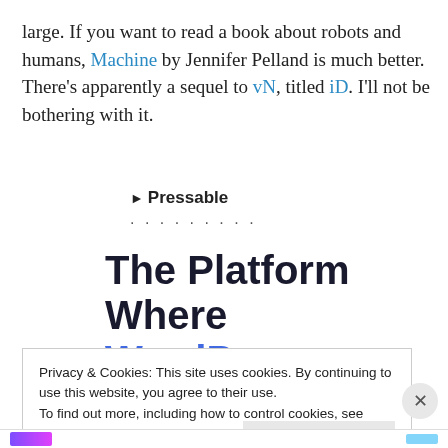large. If you want to read a book about robots and humans, Machine by Jennifer Pelland is much better. There's apparently a sequel to vN, titled iD. I'll not be bothering with it.
Pressable .........
The Platform Where WordPress Works Best
Privacy & Cookies: This site uses cookies. By continuing to use this website, you agree to their use.
To find out more, including how to control cookies, see here: Cookie Policy
Close and accept